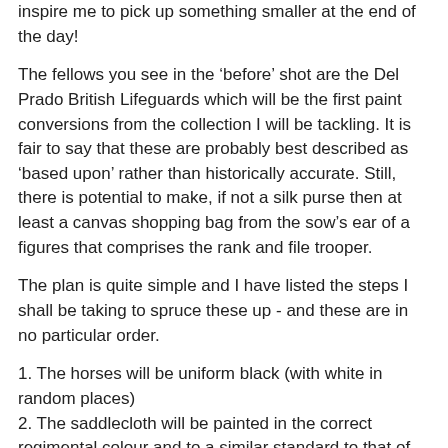inspire me to pick up something smaller at the end of the day!
The fellows you see in the ‘before’ shot are the Del Prado British Lifeguards which will be the first paint conversions from the collection I will be tackling. It is fair to say that these are probably best described as ‘based upon’ rather than historically accurate. Still, there is potential to make, if not a silk purse then at least a canvas shopping bag from the sow’s ear of a figures that comprises the rank and file trooper.
The plan is quite simple and I have listed the steps I shall be taking to spruce these up - and these are in no particular order.
1. The horses will be uniform black (with white in random places)
2. The saddlecloth will be painted in the correct regimental colour and to a similar standard to that of the original figure.
3. The small blanket roll will be painted in the correct colours
4. Six figures will have a new jacket colour of dark blue
5. When completed the figures will be shown in a finished based...